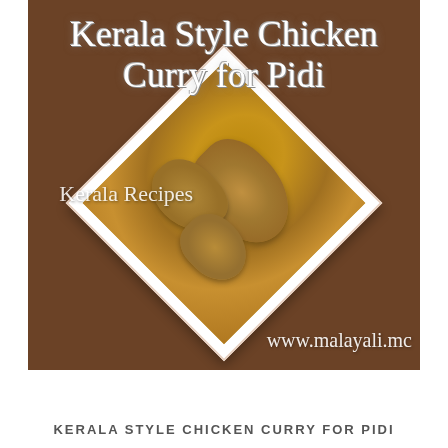[Figure (photo): Photo of Kerala Style Chicken Curry in a white square diamond-shaped bowl placed on a dark brown wooden surface. The curry is golden-yellow with pieces of chicken. Text overlays include the recipe title 'Kerala Style Chicken Curry for Pidi' in white cursive at the top, 'Kerala Recipes' watermark in the middle-left, and 'www.malayali.mc' URL at the bottom-right.]
KERALA STYLE CHICKEN CURRY FOR PIDI